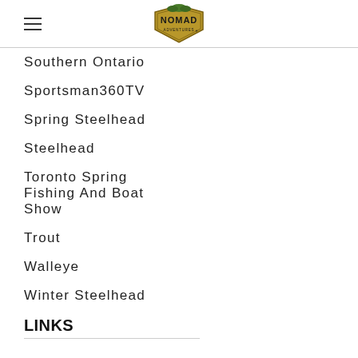Nomad Adventures
Southern Ontario
Sportsman360TV
Spring Steelhead
Steelhead
Toronto Spring Fishing And Boat Show
Trout
Walleye
Winter Steelhead
LINKS